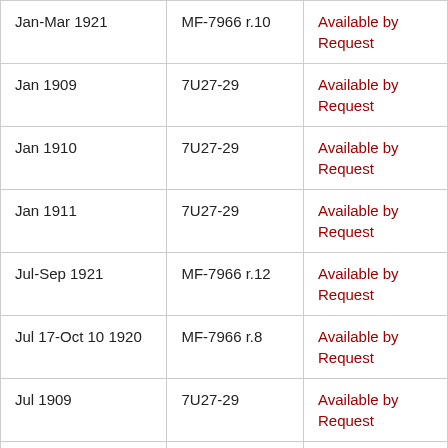| Jan-Mar 1921 | MF-7966 r.10 | Available by Request |
| Jan 1909 | 7U27-29 | Available by Request |
| Jan 1910 | 7U27-29 | Available by Request |
| Jan 1911 | 7U27-29 | Available by Request |
| Jul-Sep 1921 | MF-7966 r.12 | Available by Request |
| Jul 17-Oct 10 1920 | MF-7966 r.8 | Available by Request |
| Jul 1909 | 7U27-29 | Available by Request |
| Jul 1910 | 7U27-29 | Available by Request |